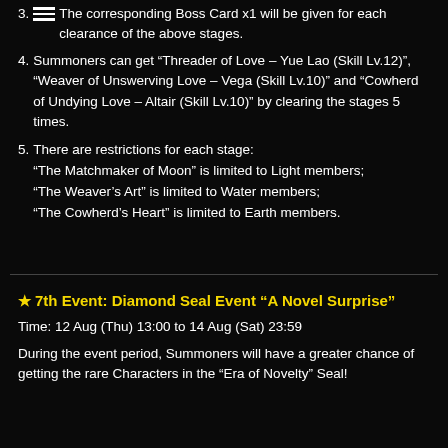3. The corresponding Boss Card x1 will be given for each clearance of the above stages.
4. Summoners can get “Threader of Love – Yue Lao (Skill Lv.12)”, “Weaver of Unswerving Love – Vega (Skill Lv.10)” and “Cowherd of Undying Love – Altair (Skill Lv.10)” by clearing the stages 5 times.
5. There are restrictions for each stage:
“The Matchmaker of Moon” is limited to Light members;
“The Weaver’s Art” is limited to Water members;
“The Cowherd’s Heart” is limited to Earth members.
★ 7th Event: Diamond Seal Event “A Novel Surprise”
Time: 12 Aug (Thu) 13:00 to 14 Aug (Sat) 23:59
During the event period, Summoners will have a greater chance of getting the rare Characters in the “Era of Novelty” Seal!